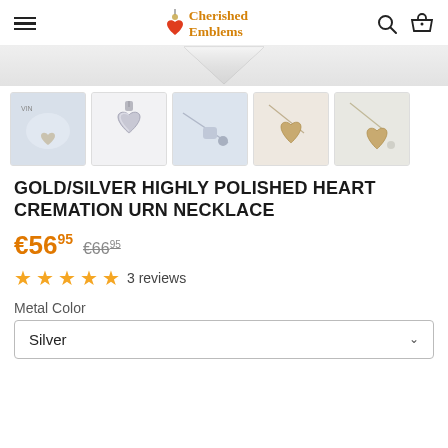Cherished Emblems
[Figure (photo): Top portion of a heart pendant necklace product photo on light background]
[Figure (photo): Five thumbnail images of gold/silver heart cremation urn necklace from different angles]
GOLD/SILVER HIGHLY POLISHED HEART CREMATION URN NECKLACE
€56.95  €66.95
★★★★★ 3 reviews
Metal Color
Silver